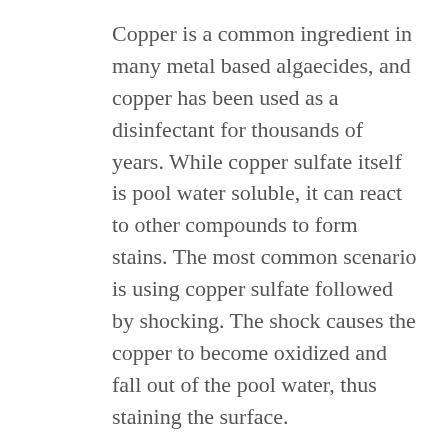Copper is a common ingredient in many metal based algaecides, and copper has been used as a disinfectant for thousands of years. While copper sulfate itself is pool water soluble, it can react to other compounds to form stains. The most common scenario is using copper sulfate followed by shocking. The shock causes the copper to become oxidized and fall out of the pool water, thus staining the surface.
Copper can also leach from plumbing and equipment. The most common source of this is older copper pool heaters. If the water is too acidic, trace amounts of copper enter the water. However, this is becoming less common as alternative metals – like titanium